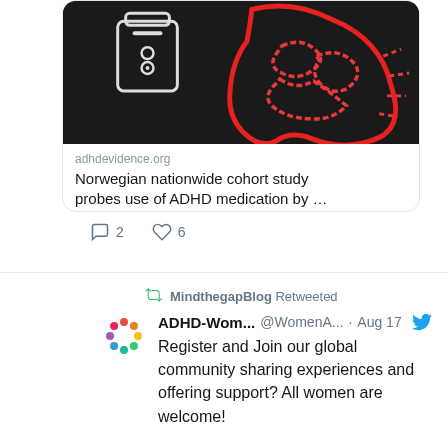[Figure (screenshot): A tweet card showing a link to adhdevidence.org with a dark background image featuring a pill bottle and a head/brain outline in red neon style. The link title reads 'Norwegian nationwide cohort study probes use of ADHD medication by ...' with 2 comments and 6 likes. Below is a retweet by MindthegapBlog of an ADHD-Wom... @WomenA... tweet from Aug 17 saying 'Register and Join our global community sharing experiences and offering support? All women are welcome! More info .... adhd-women.eu/support-guidel...' with an embedded card showing 'Knowing Me, Knowing You! Free Support group!' with ADHD and Women / ADHS und Frauen branding.]